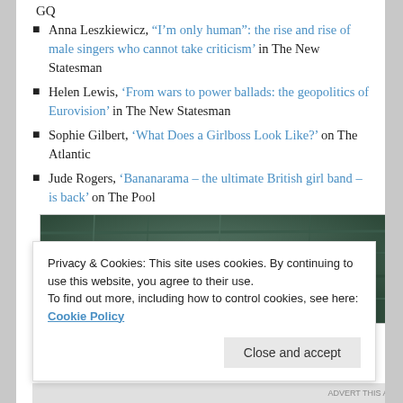GQ
Anna Leszkiewicz, '“I’m only human”: the rise and rise of male singers who cannot take criticism' in The New Statesman
Helen Lewis, 'From wars to power ballads: the geopolitics of Eurovision' in The New Statesman
Sophie Gilbert, 'What Does a Girlboss Look Like?' on The Atlantic
Jude Rogers, 'Bananarama – the ultimate British girl band – is back' on The Pool
[Figure (photo): Partial face of a person peeking out from behind a dark textured tree bark background, only the forehead and eyes visible]
Privacy & Cookies: This site uses cookies. By continuing to use this website, you agree to their use. To find out more, including how to control cookies, see here: Cookie Policy
Close and accept